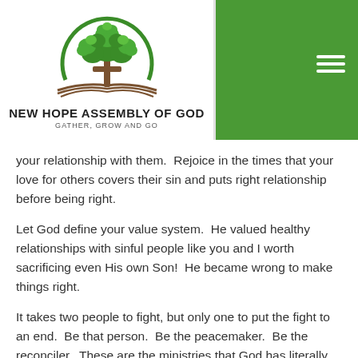[Figure (logo): New Hope Assembly of God church logo: a green tree with cross trunk inside a circular arc, above an open book shape, with text NEW HOPE ASSEMBLY OF GOD and tagline GATHER, GROW AND GO]
your relationship with them.  Rejoice in the times that your love for others covers their sin and puts right relationship before being right.
Let God define your value system.  He valued healthy relationships with sinful people like you and I worth sacrificing even His own Son!  He became wrong to make things right.
It takes two people to fight, but only one to put the fight to an end.  Be that person.  Be the peacemaker.  Be the reconciler.  These are the ministries that God has literally